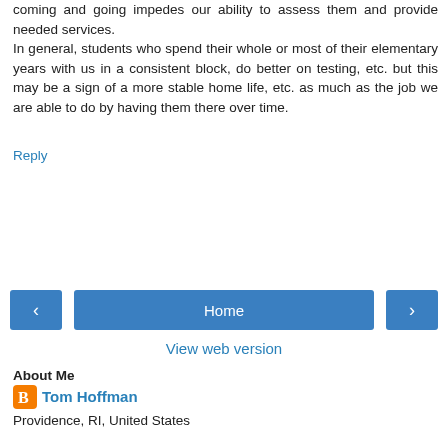coming and going impedes our ability to assess them and provide needed services. In general, students who spend their whole or most of their elementary years with us in a consistent block, do better on testing, etc. but this may be a sign of a more stable home life, etc. as much as the job we are able to do by having them there over time.
Reply
Home
View web version
About Me
Tom Hoffman
Providence, RI, United States